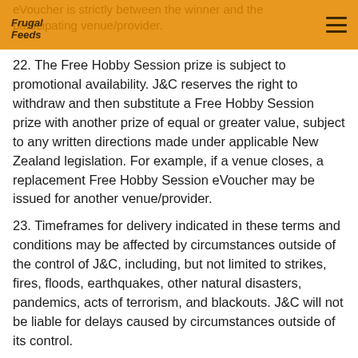Frugal Feeds
eVoucher is strictly between the winner and the participating venue/provider.
22. The Free Hobby Session prize is subject to promotional availability. J&C reserves the right to withdraw and then substitute a Free Hobby Session prize with another prize of equal or greater value, subject to any written directions made under applicable New Zealand legislation. For example, if a venue closes, a replacement Free Hobby Session eVoucher may be issued for another venue/provider.
23. Timeframes for delivery indicated in these terms and conditions may be affected by circumstances outside of the control of J&C, including, but not limited to strikes, fires, floods, earthquakes, other natural disasters, pandemics, acts of terrorism, and blackouts. J&C will not be liable for delays caused by circumstances outside of its control.
24. J&C collects personal information in order to award the Free Hobby Session prize and may, for this purpose, disclose such information to third parties, including but not limited to agents, contractors, service providers, prize suppliers and, as